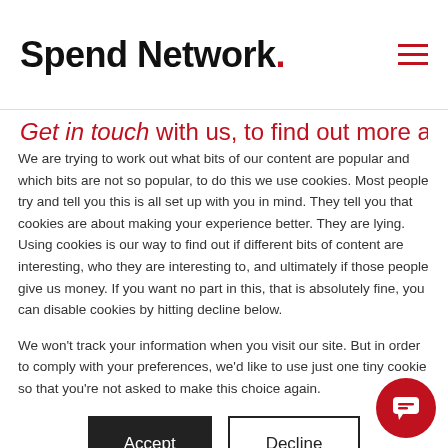Spend Network.
Get in touch with us, to find out more about our
We are trying to work out what bits of our content are popular and which bits are not so popular, to do this we use cookies. Most people try and tell you this is all set up with you in mind. They tell you that cookies are about making your experience better. They are lying. Using cookies is our way to find out if different bits of content are interesting, who they are interesting to, and ultimately if those people give us money. If you want no part in this, that is absolutely fine, you can disable cookies by hitting decline below.

We won't track your information when you visit our site. But in order to comply with your preferences, we'd like to use just one tiny cookie so that you're not asked to make this choice again.